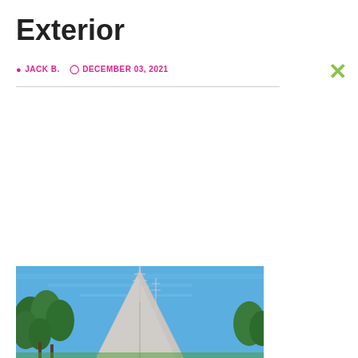Exterior
JACK B.   DECEMBER 03, 2021
[Figure (photo): Exterior photo showing a building rooftop with antenna against a blue sky, with green trees visible on the left side.]